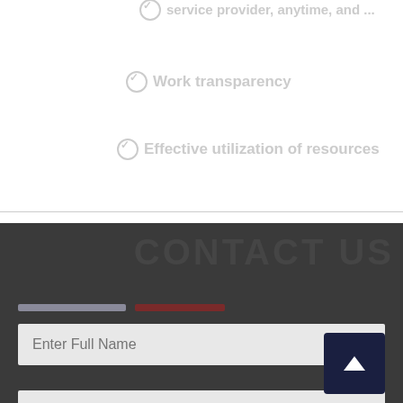service provider anytime, and ...
Work transparency
Effective utilization of resources
Wider marketplace for connecting Service providers
CONTACT US
[Figure (screenshot): Contact form with Enter Full Name and Enter Email ID input fields on dark background]
Enter Full Name
Enter Email ID